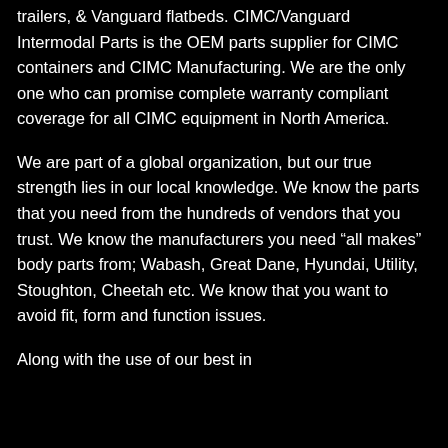trailers, & Vanguard flatbeds. CIMC/Vanguard Intermodal Parts is the OEM parts supplier for CIMC containers and CIMC Manufacturing. We are the only one who can promise complete warranty compliant coverage for all CIMC equipment in North America.
We are part of a global organization, but our true strength lies in our local knowledge. We know the parts that you need from the hundreds of vendors that you trust. We know the manufacturers you need “all makes” body parts from; Wabash, Great Dane, Hyundai, Utility, Stoughton, Cheetah etc. We know that you want to avoid fit, form and function issues.
Along with the use of our best in...